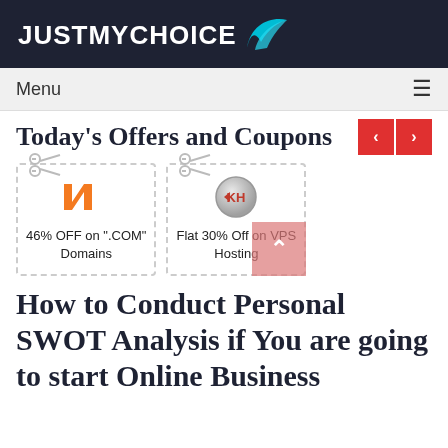[Figure (logo): JustMyChoice logo with white bold text and a cyan wing icon on dark navy background]
Menu ≡
Today's Offers and Coupons
[Figure (infographic): Coupon card for Namecheap: 46% OFF on ".COM" Domains, scissors icon at top-left, dashed border]
[Figure (infographic): Coupon card for KH (Knownhost or similar): Flat 30% Off on VPS Hosting, scissors icon at top-left, dashed border]
How to Conduct Personal SWOT Analysis if You are going to start Online Business